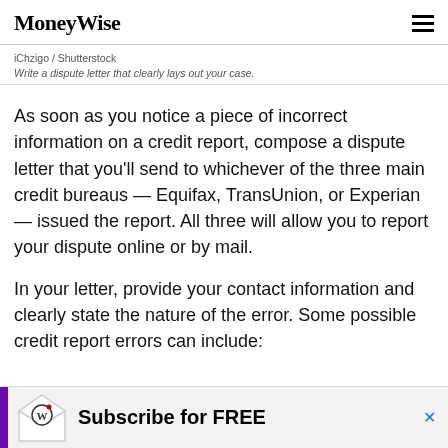MoneyWise
iChzigo / Shutterstock
Write a dispute letter that clearly lays out your case.
As soon as you notice a piece of incorrect information on a credit report, compose a dispute letter that you'll send to whichever of the three main credit bureaus — Equifax, TransUnion, or Experian — issued the report. All three will allow you to report your dispute online or by mail.
In your letter, provide your contact information and clearly state the nature of the error. Some possible credit report errors can include:
[Figure (other): Advertisement banner: MoneyWise subscribe for FREE with envelope/logo icon and purple accent bar, with blue X close button]